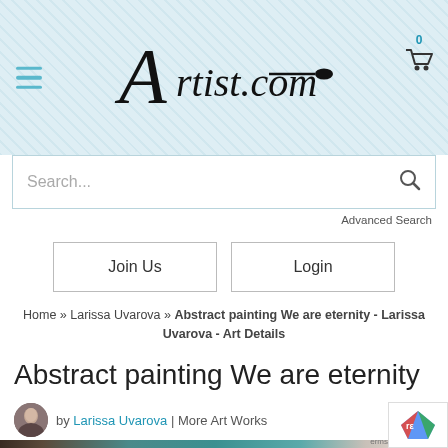Artist.com
Search...
Advanced Search
Join Us
Login
Home » Larissa Uvarova » Abstract painting We are eternity - Larissa Uvarova - Art Details
Abstract painting We are eternity
by Larissa Uvarova | More Art Works
[Figure (photo): Partial view of an abstract painting with teal/blue-green and brown tones]